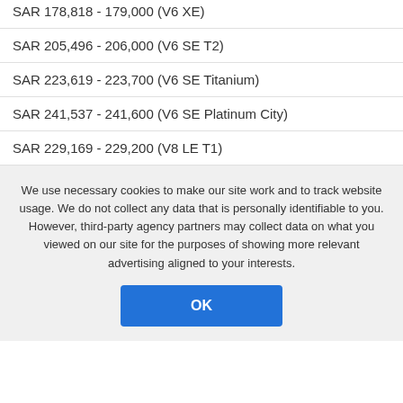SAR 178,818 - 179,000 (V6 XE)
SAR 205,496 - 206,000 (V6 SE T2)
SAR 223,619 - 223,700 (V6 SE Titanium)
SAR 241,537 - 241,600 (V6 SE Platinum City)
SAR 229,169 - 229,200 (V8 LE T1)
We use necessary cookies to make our site work and to track website usage. We do not collect any data that is personally identifiable to you. However, third-party agency partners may collect data on what you viewed on our site for the purposes of showing more relevant advertising aligned to your interests.
OK